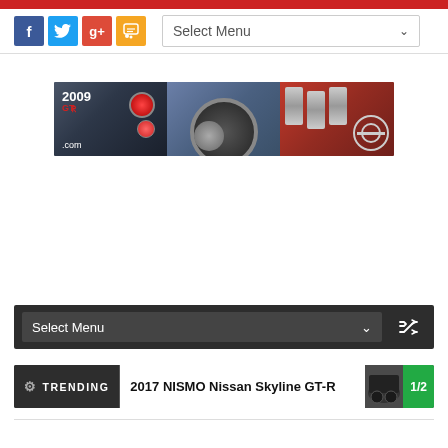[Figure (screenshot): Top red decorative bar / header photo strip]
[Figure (infographic): Social media icon buttons: Facebook (blue), Twitter (cyan), Google+ (red), RSS (orange), followed by Select Menu dropdown]
[Figure (photo): Banner showing three Nissan GT-R car photos side by side: tail lights with '2009 GT-R .com' text, front wheel/fender close-up, engine bay close-up with Nissan logo]
[Figure (screenshot): Dark navigation bar with 'Select Menu' dropdown and shuffle icon]
[Figure (screenshot): Trending bar showing gear icon, TRENDING label, '2017 NISMO Nissan Skyline GT-R' text, thumbnail image, and '1/2' counter badge]